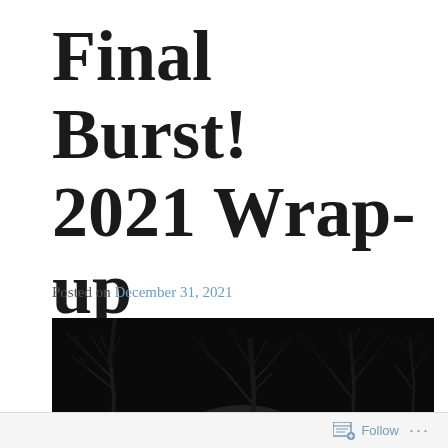Final Burst! 2021 Wrap-up
Posted on December 31, 2021
[Figure (photo): Dark nighttime photograph of bare tree branches against a dark sky with a faint glowing light source visible at the bottom center]
Follow ...